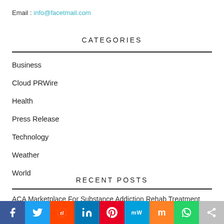Email : info@facetmail.com
CATEGORIES
Business
Cloud PRWire
Health
Press Release
Technology
Weather
World
RECENT POSTS
ACA Marketplace For Substance Addiction Rehab Treatment Insurance